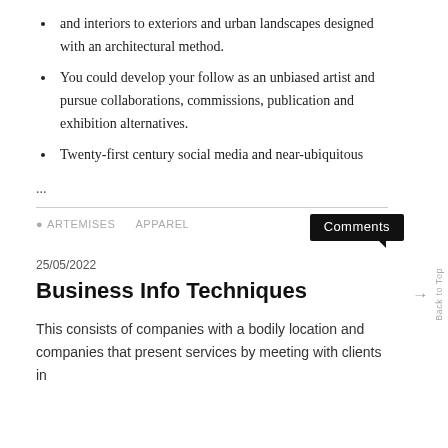and interiors to exteriors and urban landscapes designed with an architectural method.
You could develop your follow as an unbiased artist and pursue collaborations, commissions, publication and exhibition alternatives.
Twenty-first century social media and near-ubiquitous
...
ARTEMISES   APPAREL   Comments
25/05/2022
Business Info Techniques
This consists of companies with a bodily location and companies that present services by meeting with clients in